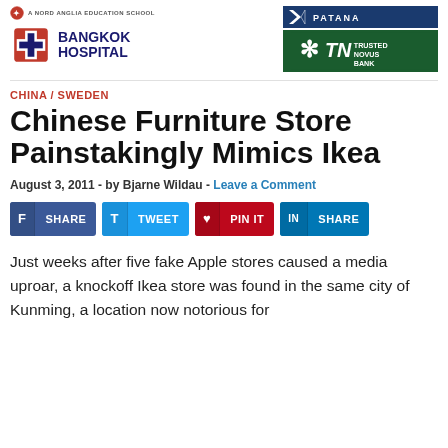[Figure (logo): Bangkok Hospital logo on left, Patana and Trusted Novus Bank logos on right, Nord Anglia Education school header]
CHINA / SWEDEN
Chinese Furniture Store Painstakingly Mimics Ikea
August 3, 2011 - by Bjarne Wildau - Leave a Comment
[Figure (infographic): Social share buttons: SHARE (Facebook), TWEET (Twitter), PIN IT (Pinterest), SHARE (LinkedIn)]
Just weeks after five fake Apple stores caused a media uproar, a knockoff Ikea store was found in the same city of Kunming, a location now notorious for